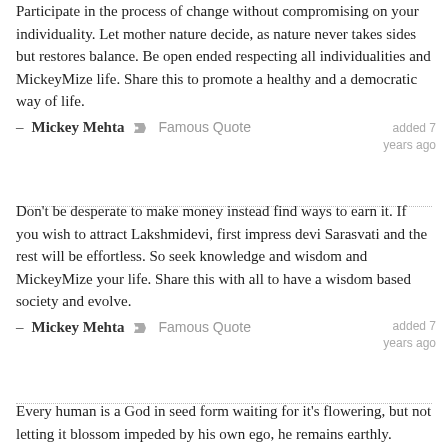Participate in the process of change without compromising on your individuality. Let mother nature decide, as nature never takes sides but restores balance. Be open ended respecting all individualities and MickeyMize life. Share this to promote a healthy and a democratic way of life.
added 7 years ago
– Mickey Mehta  Famous Quote
Don't be desperate to make money instead find ways to earn it. If you wish to attract Lakshmidevi, first impress devi Sarasvati and the rest will be effortless. So seek knowledge and wisdom and MickeyMize your life. Share this with all to have a wisdom based society and evolve.
added 7 years ago
– Mickey Mehta  Famous Quote
Every human is a God in seed form waiting for it's flowering, but not letting it blossom impeded by his own ego, he remains earthly.